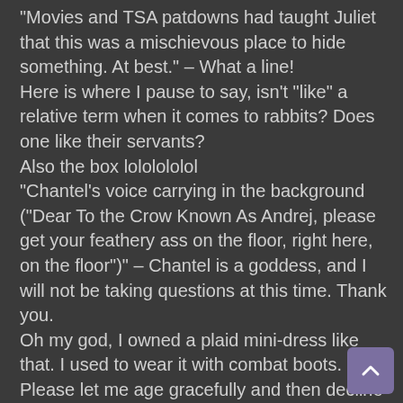"Movies and TSA patdowns had taught Juliet that this was a mischievous place to hide something. At best." – What a line!
Here is where I pause to say, isn't "like" a relative term when it comes to rabbits? Does one like their servants?
Also the box lololololol
"Chantel's voice carrying in the background ("Dear To the Crow Known As Andrej, please get your feathery ass on the floor, right here, on the floor")" – Chantel is a goddess, and I will not be taking questions at this time. Thank you.
Oh my god, I owned a plaid mini-dress like that. I used to wear it with combat boots. Please let me age gracefully and then decline in silence.
I actually don't accept a world where the moth video is an NFT, so...
I would read this Little Mermaid AO3. In my mind, Doctor Butterfly already exists and is on my